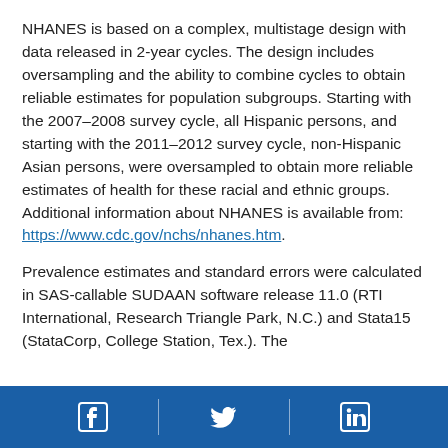NHANES is based on a complex, multistage design with data released in 2-year cycles. The design includes oversampling and the ability to combine cycles to obtain reliable estimates for population subgroups. Starting with the 2007–2008 survey cycle, all Hispanic persons, and starting with the 2011–2012 survey cycle, non-Hispanic Asian persons, were oversampled to obtain more reliable estimates of health for these racial and ethnic groups. Additional information about NHANES is available from: https://www.cdc.gov/nchs/nhanes.htm.
Prevalence estimates and standard errors were calculated in SAS-callable SUDAAN software release 11.0 (RTI International, Research Triangle Park, N.C.) and Stata15 (StataCorp, College Station, Tex.). The
[Facebook] [Twitter] [LinkedIn]